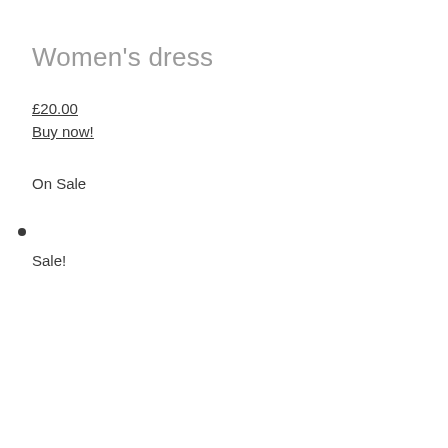Women's dress
£20.00
Buy now!
On Sale
Sale!